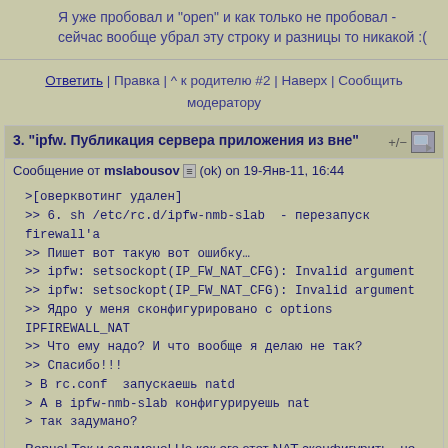Я уже пробовал и "open" и как только не пробовал - сейчас вообще убрал эту строку и разницы то никакой :(
Ответить | Правка | ^ к родителю #2 | Наверх | Сообщить модератору
3. "ipfw. Публикация сервера приложения из вне"
Сообщение от mslabousov (ok) on 19-Янв-11, 16:44
>[оверквотинг удален]
>> 6. sh /etc/rc.d/ipfw-nmb-slab  - перезапуск firewall'а
>> Пишет вот такую вот ошибку…
>> ipfw: setsockopt(IP_FW_NAT_CFG): Invalid argument
>> ipfw: setsockopt(IP_FW_NAT_CFG): Invalid argument
>> Ядро у меня сконфигурировано с options IPFIREWALL_NAT
>> Что ему надо? И что вообще я делаю не так?
>> Спасибо!!!
> В rc.conf  запускаешь natd
> А в ipfw-nmb-slab конфигурируешь nat
> так задумано?

Верно! Так и задумано! Но как его этот NAT сконфигурить - не знаю уже :(